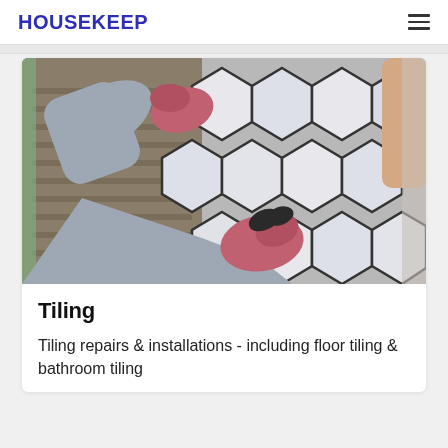HOUSEKEEP
[Figure (photo): Person wearing pink/red gloves installing large white hexagonal tiles on a wall with adhesive mortar visible in the background]
Tiling
Tiling repairs & installations - including floor tiling & bathroom tiling